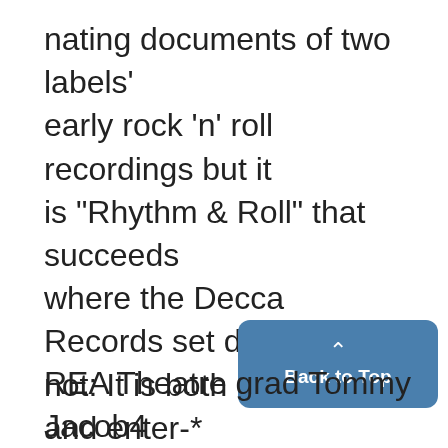nating documents of two labels' early rock 'n' roll recordings but it is "Rhythm & Roll" that succeeds where the Decca Records set does not: It is both relevant and enter-* taming, historical and extremely lis tenable.

reports were quite favorable, and. rightly so. Kirshenbaum's music i§, both accessible and catchy, but not without substance. Keep up the good work, David. Broadway needs s new composers.
REA Theatre grad Tommy Jacob4...